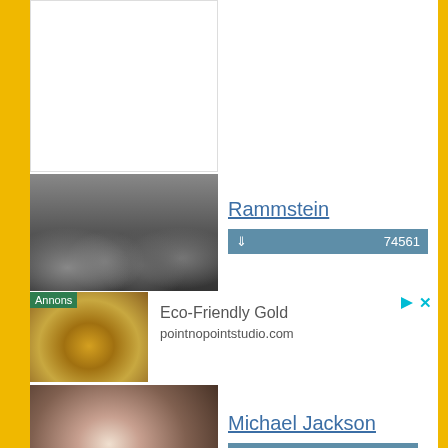[Figure (photo): Blank white image box at top]
[Figure (photo): Black and white photo of Rammstein band members]
Rammstein
74561
Annons
[Figure (photo): Photo of a gold ring - Eco-Friendly Gold advertisement]
Eco-Friendly Gold
pointnopointstudio.com
[Figure (photo): Photo of Michael Jackson]
Michael Jackson
67646